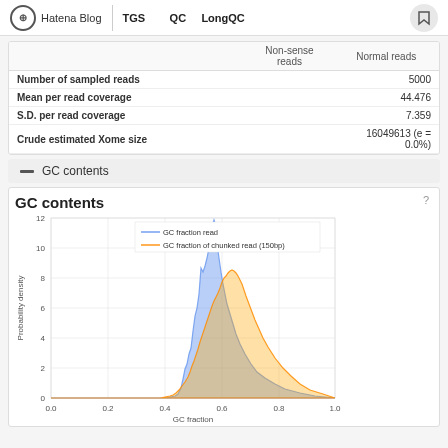Hatena Blog | TGS　　　　QC　　 LongQC
|  | Non-sense reads | Normal reads |
| --- | --- | --- |
| Number of sampled reads |  | 5000 |
| Mean per read coverage |  | 44.476 |
| S.D. per read coverage |  | 7.359 |
| Crude estimated Xome size |  | 16049613 (e = 0.0%) |
— GC contents
GC contents
[Figure (continuous-plot): Overlapping area/line chart showing two distributions: 'GC fraction read' (blue) and 'GC fraction of chunked read (150bp)' (orange). Both distributions peak around GC fraction 0.65-0.70, with the blue distribution having a sharp peak near 10 and the orange having a broader peak around 5-7. X-axis ranges from 0.0 to 1.0, Y-axis from 0 to 12.]